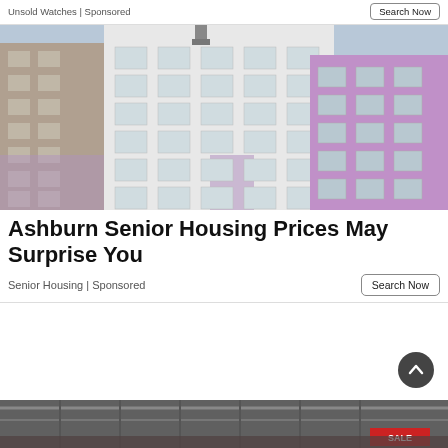Unsold Watches | Sponsored
[Figure (photo): Multi-story apartment building with white and purple facade panels, photographed from below against a light blue sky]
Ashburn Senior Housing Prices May Surprise You
Senior Housing | Sponsored
[Figure (photo): Partial view of a building or market structure with a red sale sign visible at the bottom of the image]